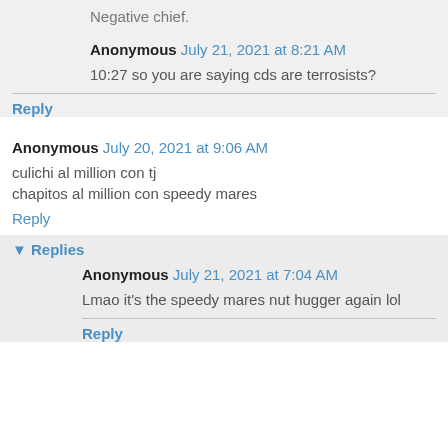Negative chief.
Anonymous July 21, 2021 at 8:21 AM
10:27 so you are saying cds are terrosists?
Reply
Anonymous July 20, 2021 at 9:06 AM
culichi al million con tj
chapitos al million con speedy mares
Reply
Replies
Anonymous July 21, 2021 at 7:04 AM
Lmao it's the speedy mares nut hugger again lol
Reply